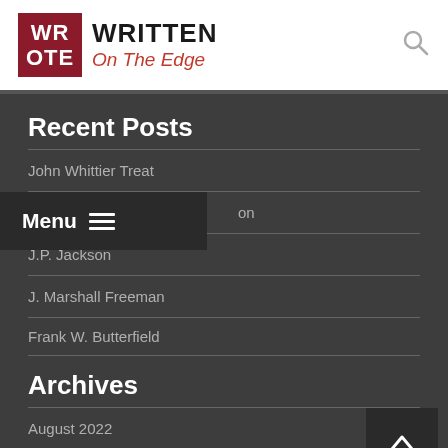WRITTEN On The Edge
Recent Posts
John Whittier Treat
…son
J.P. Jackson
J. Marshall Freeman
Frank W. Butterfield
Archives
August 2022
July 2022